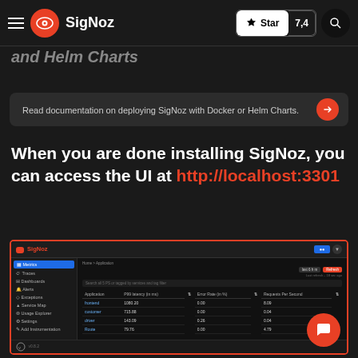SigNoz | Star 7,4 [search]
and Helm Charts
Read documentation on deploying SigNoz with Docker or Helm Charts.
When you are done installing SigNoz, you can access the UI at http://localhost:3301
[Figure (screenshot): SigNoz UI screenshot showing application metrics table with columns: Applications, P99 latency (in ms), Error Rate (in %), Requests Per Second. Rows: frontend 1080.20 / 0.00 / 8.09; customer 715.88 / 0.00 / 0.04; driver 143.09 / 0.26 / 0.04; Route 79.76 / 0.00 / 4.79]